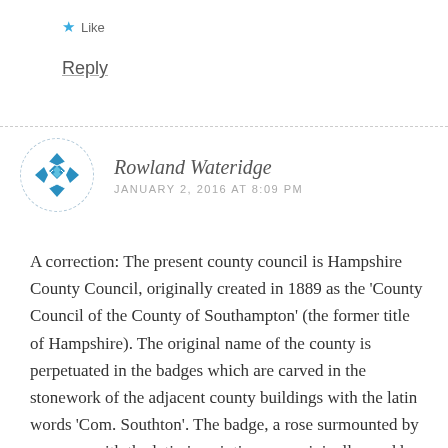★ Like
Reply
[Figure (logo): Circular avatar with blue geometric cross/diamond pattern icon on white background with dashed border]
Rowland Wateridge
JANUARY 2, 2016 AT 8:09 PM
A correction: The present county council is Hampshire County Council, originally created in 1889 as the 'County Council of the County of Southampton' (the former title of Hampshire). The original name of the county is perpetuated in the badges which are carved in the stonework of the adjacent county buildings with the latin words 'Com. Southton'. The badge, a rose surmounted by a crown, with the latin inscription was originally used by the County Justices.